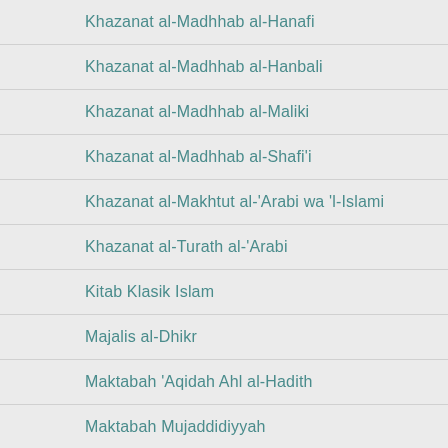Khazanat al-Madhhab al-Hanafi
Khazanat al-Madhhab al-Hanbali
Khazanat al-Madhhab al-Maliki
Khazanat al-Madhhab al-Shafi'i
Khazanat al-Makhtut al-'Arabi wa 'l-Islami
Khazanat al-Turath al-'Arabi
Kitab Klasik Islam
Majalis al-Dhikr
Maktabah 'Aqidah Ahl al-Hadith
Maktabah Mujaddidiyyah